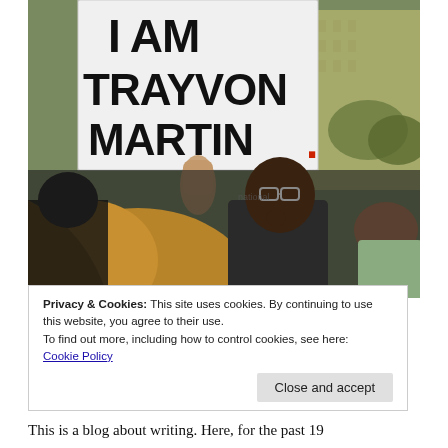[Figure (photo): Protest scene: a person holding a sign reading 'I AM TRAYVON MARTIN.' above a crowd; a man with glasses in the center background, other people and buildings visible.]
Privacy & Cookies: This site uses cookies. By continuing to use this website, you agree to their use.
To find out more, including how to control cookies, see here:
Cookie Policy
Close and accept
This is a blog about writing. Here, for the past 19